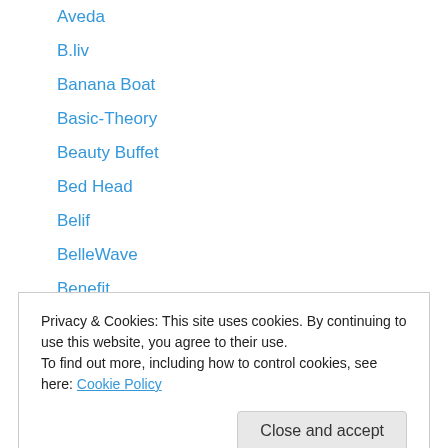Aveda
B.liv
Banana Boat
Basic-Theory
Beauty Buffet
Bed Head
Belif
BelleWave
Benefit
Benta Berry
Berrisom
Bifesta
Bio-essense
Privacy & Cookies: This site uses cookies. By continuing to use this website, you agree to their use. To find out more, including how to control cookies, see here: Cookie Policy
Brands